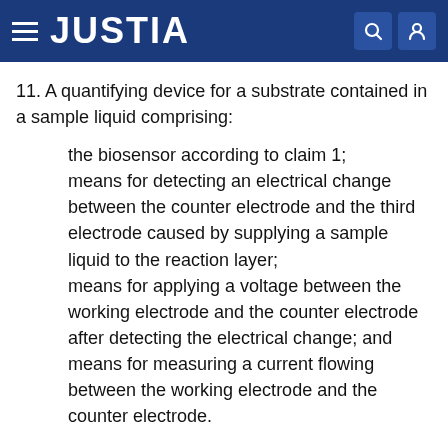JUSTIA
11. A quantifying device for a substrate contained in a sample liquid comprising:
the biosensor according to claim 1;
means for detecting an electrical change between the counter electrode and the third electrode caused by supplying a sample liquid to the reaction layer;
means for applying a voltage between the working electrode and the counter electrode after detecting the electrical change; and
means for measuring a current flowing between the working electrode and the counter electrode.
12. A quantifying device for a substrate contained in a sample liquid, comprising the biosensor according to claim 1 and a measuring device to which the biosensor